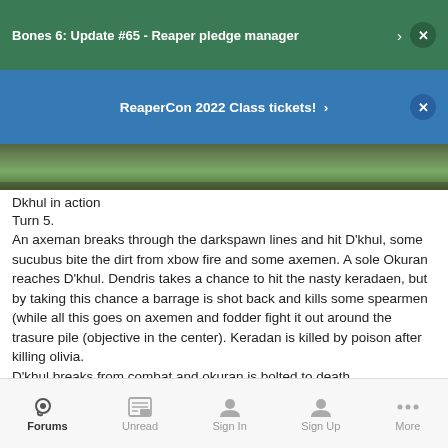Bones 6: Update #65 - Reaper pledge manager
ReaperCon 2022 Class tickets!
[Figure (photo): Partial photo of miniature figures in action, cropped at top]
Dkhul in action
Turn 5.
An axeman breaks through the darkspawn lines and hit D'khul, some sucubus bite the dirt from xbow fire and some axemen. A sole Okuran reaches D'khul. Dendris takes a chance to hit the nasty keradaen, but by taking this chance a barrage is shot back and kills some spearmen (while all this goes on axemen and fodder fight it out around the trasure pile (objective in the center). Keradan is killed by poison after killing olivia.
D'khul breaks from combat and okuran is bolted to death.
At this point the game is 2 darkspawn wizards and their assassin/fodder/imps vs Dockard, Dendris, Dingo (triple D) and
Forums  Unread  Sign In  Sign Up  More